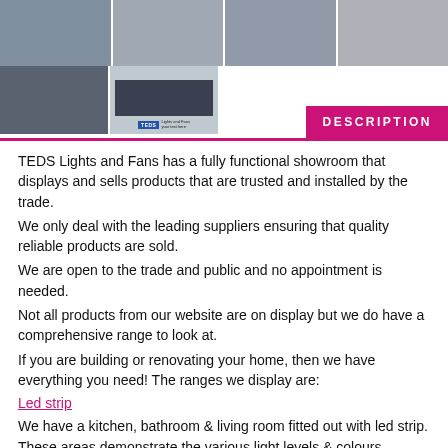[Figure (photo): Top row of four store/product photos showing lighting fixtures and showroom]
[Figure (photo): Second row: left photo of pendant lights; TEDS Lights and Fans advertisement with logo and contact details]
DESCRIPTION
TEDS Lights and Fans has a fully functional showroom that displays and sells products that are trusted and installed by the trade.
We only deal with the leading suppliers ensuring that quality reliable products are sold.
We are open to the trade and public and no appointment is needed.
Not all products from our website are on display but we do have a comprehensive range to look at.
If you are building or renovating your home, then we have everything you need! The ranges we display are:
Led strip
We have a kitchen, bathroom & living room fitted out with led strip. These areas demonstrate the various light levels & colours produced by different types of strip. Or, current ideas of how to use